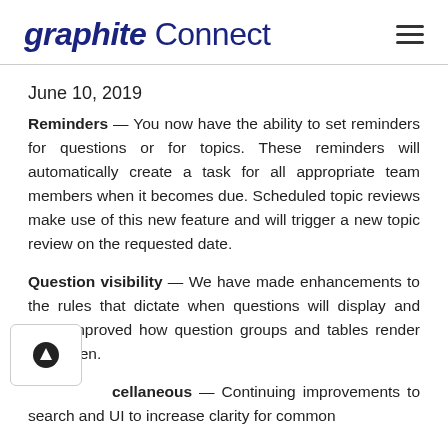graphite Connect
June 10, 2019
Reminders — You now have the ability to set reminders for questions or for topics. These reminders will automatically create a task for all appropriate team members when it becomes due. Scheduled topic reviews make use of this new feature and will trigger a new topic review on the requested date.
Question visibility — We have made enhancements to the rules that dictate when questions will display and have improved how question groups and tables render on-screen.
Miscellaneous — Continuing improvements to search and UI to increase clarity for common...